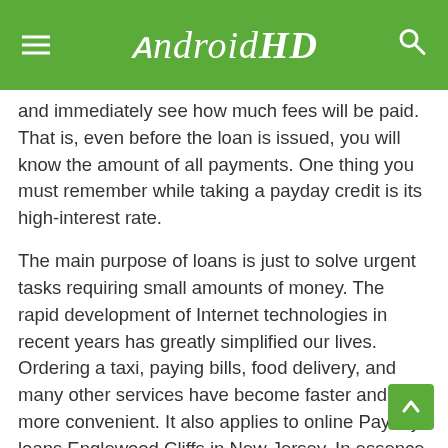AndroidHD
and immediately see how much fees will be paid. That is, even before the loan is issued, you will know the amount of all payments. One thing you must remember while taking a payday credit is its high-interest rate.
The main purpose of loans is just to solve urgent tasks requiring small amounts of money. The rapid development of Internet technologies in recent years has greatly simplified our lives. Ordering a taxi, paying bills, food delivery, and many other services have become faster and more convenient. It also applies to online Payday loans Englewood Cliffs in New Jersey. In essence, you can complete an application in the online service in 5 minutes. In some minutes, you will already know about the decision. There is no need to go anywhere; you just need access to the Internet. You can send the application from your smartphone, tablet, or computer.
According to the USA laws, people who haven't reached the age of 18 can't get payday loans. A short-term payday